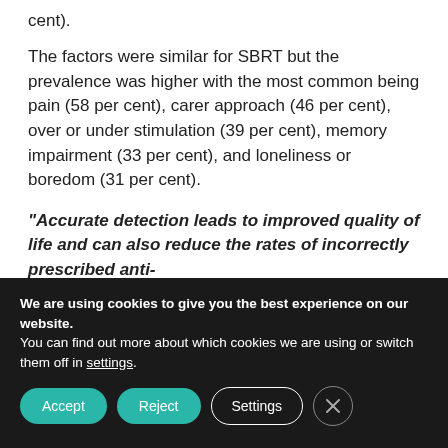cent).
The factors were similar for SBRT but the prevalence was higher with the most common being pain (58 per cent), carer approach (46 per cent), over or under stimulation (39 per cent), memory impairment (33 per cent), and loneliness or boredom (31 per cent).
“Accurate detection leads to improved quality of life and can also reduce the rates of incorrectly prescribed anti-
We are using cookies to give you the best experience on our website.
You can find out more about which cookies we are using or switch them off in settings.